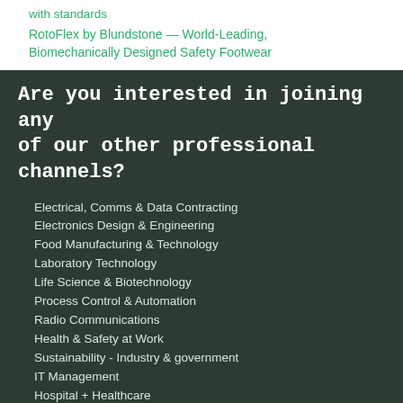with standards
RotoFlex by Blundstone — World-Leading, Biomechanically Designed Safety Footwear
Are you interested in joining any of our other professional channels?
Electrical, Comms & Data Contracting
Electronics Design & Engineering
Food Manufacturing & Technology
Laboratory Technology
Life Science & Biotechnology
Process Control & Automation
Radio Communications
Health & Safety at Work
Sustainability - Industry & government
IT Management
Hospital + Healthcare
GovTech Review
Aged Health
Contact Information